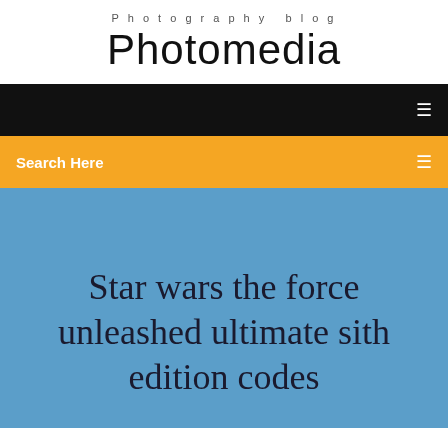Photography blog
Photomedia
[Figure (screenshot): Black navigation bar with white menu icon on right]
Search Here
Star wars the force unleashed ultimate sith edition codes